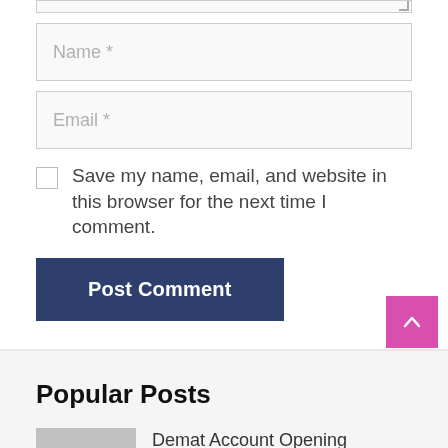[Figure (screenshot): Partial textarea input stub at top of page]
Name *
Email *
Save my name, email, and website in this browser for the next time I comment.
Post Comment
Popular Posts
Demat Account Opening Process –